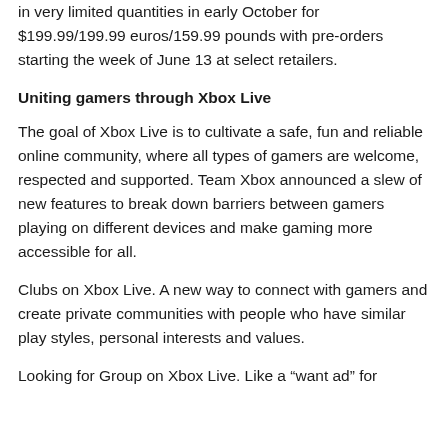in very limited quantities in early October for $199.99/199.99 euros/159.99 pounds with pre-orders starting the week of June 13 at select retailers.
Uniting gamers through Xbox Live
The goal of Xbox Live is to cultivate a safe, fun and reliable online community, where all types of gamers are welcome, respected and supported. Team Xbox announced a slew of new features to break down barriers between gamers playing on different devices and make gaming more accessible for all.
Clubs on Xbox Live. A new way to connect with gamers and create private communities with people who have similar play styles, personal interests and values.
Looking for Group on Xbox Live. Like a “want ad” for